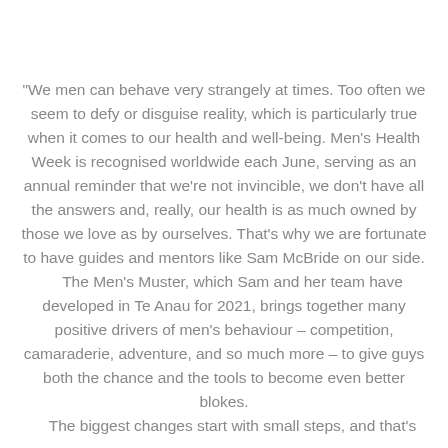"We men can behave very strangely at times. Too often we seem to defy or disguise reality, which is particularly true when it comes to our health and well-being. Men's Health Week is recognised worldwide each June, serving as an annual reminder that we're not invincible, we don't have all the answers and, really, our health is as much owned by those we love as by ourselves. That's why we are fortunate to have guides and mentors like Sam McBride on our side. The Men's Muster, which Sam and her team have developed in Te Anau for 2021, brings together many positive drivers of men's behaviour – competition, camaraderie, adventure, and so much more – to give guys both the chance and the tools to become even better blokes. The biggest changes start with small steps, and that's